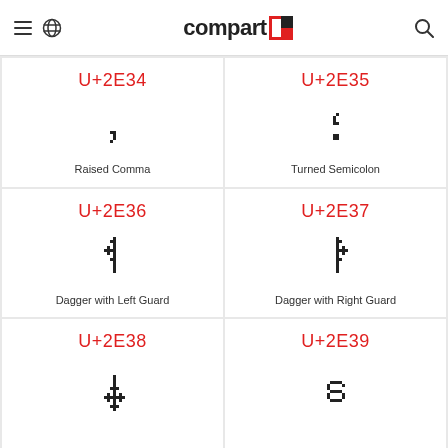compart
U+2E34 Raised Comma
U+2E35 Turned Semicolon
U+2E36 Dagger with Left Guard
U+2E37 Dagger with Right Guard
U+2E38
U+2E39